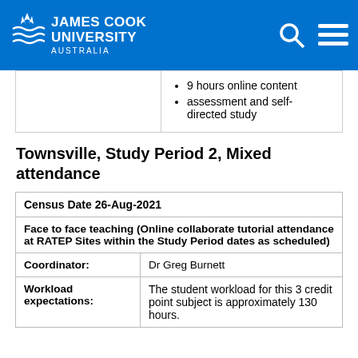James Cook University Australia
|  | 9 hours online content
assessment and self-directed study |
Townsville, Study Period 2, Mixed attendance
| Census Date 26-Aug-2021 |
| Face to face teaching (Online collaborate tutorial attendance at RATEP Sites within the Study Period dates as scheduled) |
| Coordinator: | Dr Greg Burnett |
| Workload expectations: | The student workload for this 3 credit point subject is approximately 130 hours. |